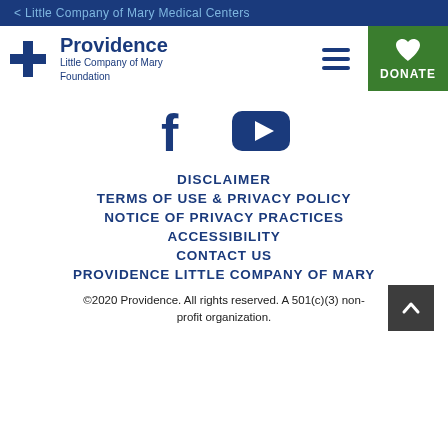< Little Company of Mary Medical Centers
[Figure (logo): Providence Little Company of Mary Foundation logo with cross icon and hamburger menu, plus green Donate button]
[Figure (illustration): Facebook and YouTube social media icons]
DISCLAIMER
TERMS OF USE & PRIVACY POLICY
NOTICE OF PRIVACY PRACTICES
ACCESSIBILITY
CONTACT US
PROVIDENCE LITTLE COMPANY OF MARY
©2020 Providence. All rights reserved. A 501(c)(3) non-profit organization.